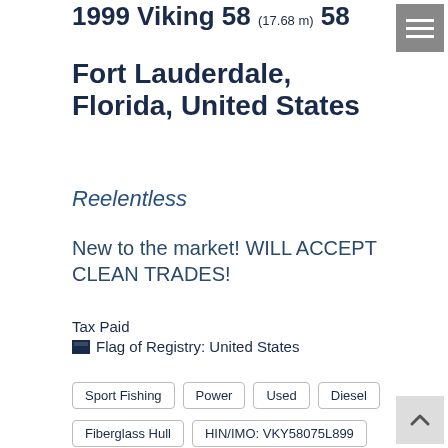1999 Viking 58 (17.68 m) 58
Fort Lauderdale, Florida, United States
Reelentless
New to the market! WILL ACCEPT CLEAN TRADES!
Tax Paid
🏴 Flag of Registry: United States
Sport Fishing
Power
Used
Diesel
Fiberglass Hull
HIN/IMO: VKY58075L899